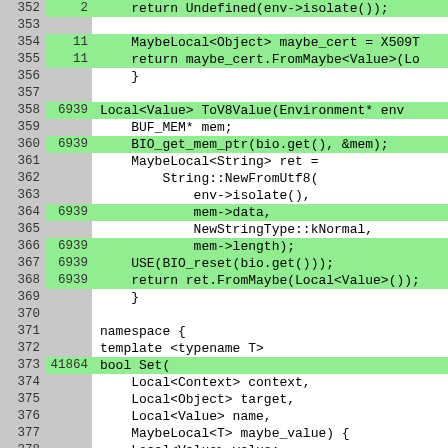[Figure (screenshot): Code coverage viewer showing C++ source lines 352-378 with line numbers, hit counts, and code content. Green highlighted rows indicate covered lines. Lines shown include return statements, MaybeLocal, BIO_get_mem_ptr, String::NewFromUtf8, mem->data, mem->length, USE(BIO_reset), return ret.FromMaybe, namespace block, template, bool Set, and Local/MaybeLocal parameter declarations.]